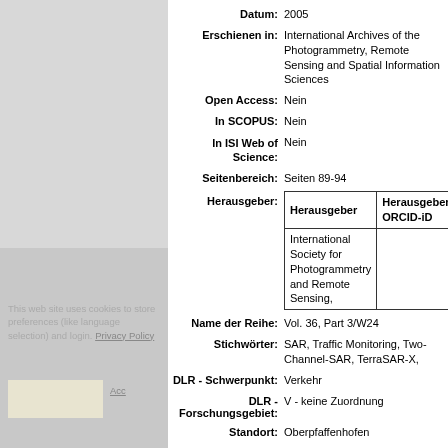| Datum: | 2005 |
| Erschienen in: | International Archives of the Photogrammetry, Remote Sensing and Spatial Information Sciences |
| Open Access: | Nein |
| In SCOPUS: | Nein |
| In ISI Web of Science: | Nein |
| Seitenbereich: | Seiten 89-94 |
| Herausgeber: | [nested table: Herausgeber | Herausgeber-ORCID-iD / International Society for Photogrammetry and Remote Sensing, | ] |
| Name der Reihe: | Vol. 36, Part 3/W24 |
| Stichwörter: | SAR, Traffic Monitoring, Two-Channel-SAR, TerraSAR-X, |
| DLR - Schwerpunkt: | Verkehr |
| DLR - Forschungsgebiet: | V - keine Zuordnung |
| Standort: | Oberpfaffenhofen |
| Institute & Einrichtungen: | Institut für Methodik der Fernerkundung |